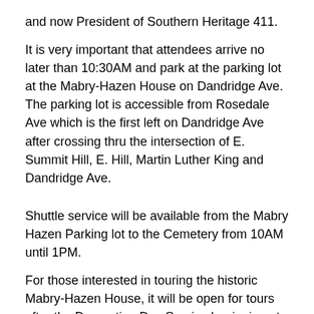and now President of Southern Heritage 411.
It is very important that attendees arrive no later than 10:30AM and park at the parking lot at the Mabry-Hazen House on Dandridge Ave. The parking lot is accessible from Rosedale Ave which is the first left on Dandridge Ave after crossing thru the intersection of E. Summit Hill, E. Hill, Martin Luther King and Dandridge Ave.
Shuttle service will be available from the Mabry Hazen Parking lot to the Cemetery from 10AM until 1PM.
For those interested in touring the historic Mabry-Hazen House, it will be open for tours after the Decoration Day Service beginning at about 12:30.
Refreshment will be provided by the SCV and Ellen Renshaw House Chapter No. 2634, UDC.